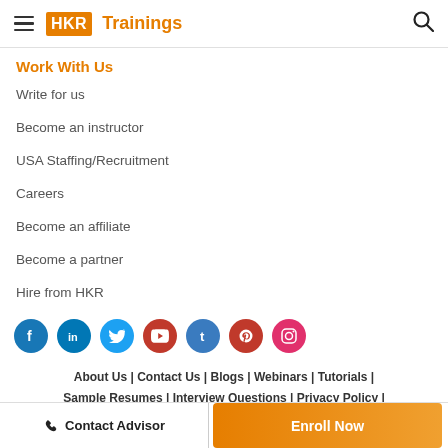HKR Trainings
Work With Us
Write for us
Become an instructor
USA Staffing/Recruitment
Careers
Become an affiliate
Become a partner
Hire from HKR
[Figure (infographic): Social media icons: Facebook, LinkedIn, Twitter, YouTube, Tumblr, Pinterest, Instagram]
About Us | Contact Us | Blogs | Webinars | Tutorials | Sample Resumes | Interview Questions | Privacy Policy | Terms & Conditions | Refund Policy | Technical Support |
Contact Advisor  |  Enroll Now